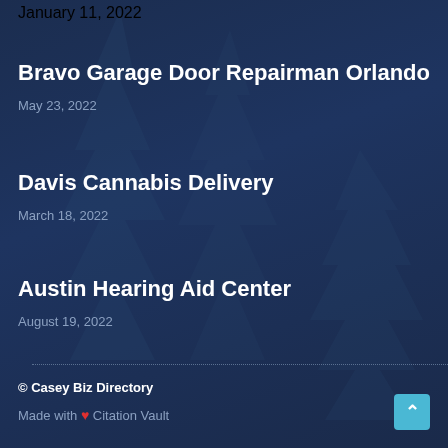January 11, 2022
Bravo Garage Door Repairman Orlando
May 23, 2022
Davis Cannabis Delivery
March 18, 2022
Austin Hearing Aid Center
August 19, 2022
© Casey Biz Directory
Made with ❤ Citation Vault